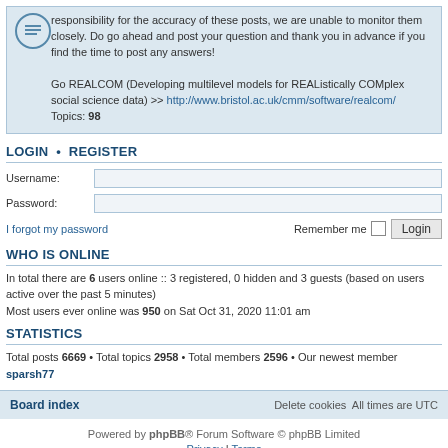responsibility for the accuracy of these posts, we are unable to monitor them closely. Do go ahead and post your question and thank you in advance if you find the time to post any answers! Go REALCOM (Developing multilevel models for REAListically COMplex social science data) >> http://www.bristol.ac.uk/cmm/software/realcom/ Topics: 98
LOGIN • REGISTER
Username:
Password:
I forgot my password   Remember me  Login
WHO IS ONLINE
In total there are 6 users online :: 3 registered, 0 hidden and 3 guests (based on users active over the past 5 minutes)
Most users ever online was 950 on Sat Oct 31, 2020 11:01 am
STATISTICS
Total posts 6669 • Total topics 2958 • Total members 2596 • Our newest member sparsh77
Board index   Delete cookies  All times are UTC
Powered by phpBB® Forum Software © phpBB Limited
Privacy | Terms